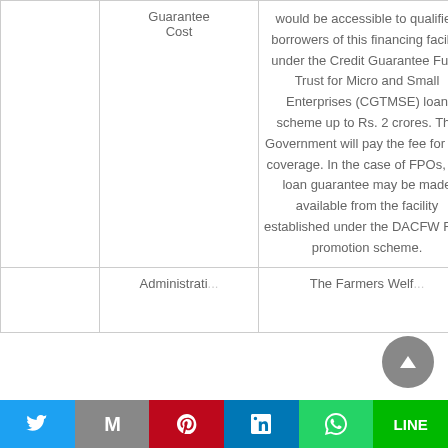|  | Guarantee Cost |  |
| --- | --- | --- |
|  | Guarantee Cost | would be accessible to qualified borrowers of this financing facility under the Credit Guarantee Fund Trust for Micro and Small Enterprises (CGTMSE) loan scheme up to Rs. 2 crores. The Government will pay the fee for this coverage. In the case of FPOs, the loan guarantee may be made available from the facility established under the DACFW FPO promotion scheme. |
|  | Administrati... | The Farmers Welf... |